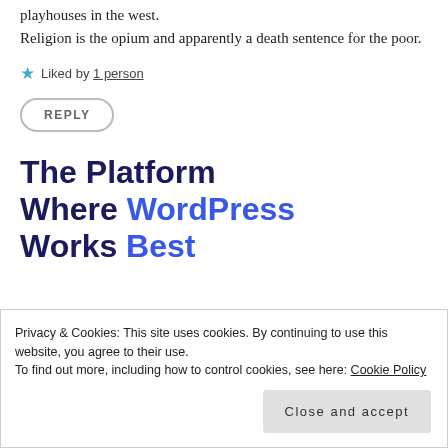playhouses in the west. Religion is the opium and apparently a death sentence for the poor.
★ Liked by 1 person
REPLY
The Platform Where WordPress Works Best
SEE PRICING
Privacy & Cookies: This site uses cookies. By continuing to use this website, you agree to their use. To find out more, including how to control cookies, see here: Cookie Policy
Close and accept